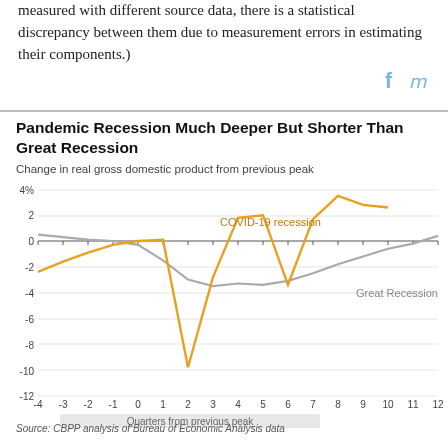measured with different source data, there is a statistical discrepancy between them due to measurement errors in estimating their components.)
[Figure (line-chart): Pandemic Recession Much Deeper But Shorter Than Great Recession]
Source: CBPP analysis of Bureau of Economic Analysis data